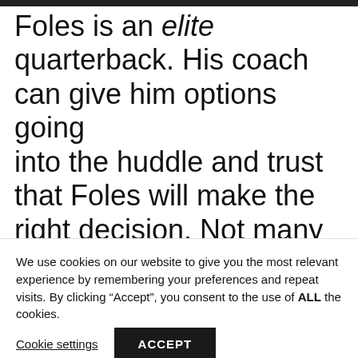Foles is an elite quarterback. His coach can give him options going into the huddle and trust that Foles will make the right decision. Not many coaches have that luxury. And that ability excites [MINDSET] every member of the
We use cookies on our website to give you the most relevant experience by remembering your preferences and repeat visits. By clicking “Accept”, you consent to the use of ALL the cookies.
Cookie settings
ACCEPT